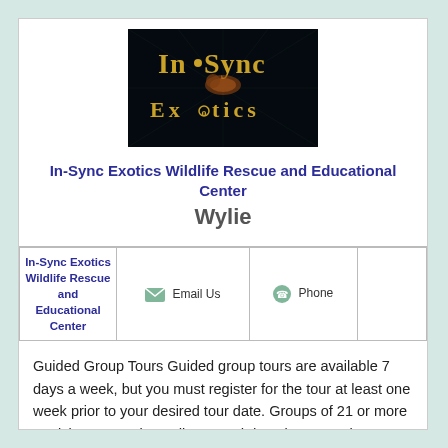[Figure (logo): In-Sync Exotics logo with golden text on black background featuring a tiger]
In-Sync Exotics Wildlife Rescue and Educational Center
Wylie
|  | Email Us | Phone |  |
| --- | --- | --- | --- |
| In-Sync Exotics Wildlife Rescue and Educational Center | Email Us | Phone |  |
Guided Group Tours Guided group tours are available 7 days a week, but you must register for the tour at least one week prior to your desired tour date. Groups of 21 or more participants receive a discounted donation rate. The guided tour lasts approximately 1 1/2 hours. A 25% deposit or full donation is requested before the registration process is complete. You may make your donation through our website or by check. Please contact Tours for additional information